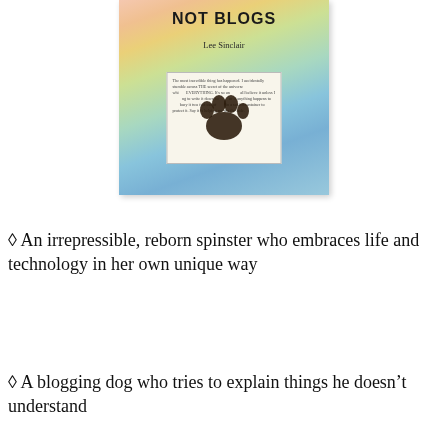[Figure (illustration): Book cover for 'NOT BLOGS' by Lee Sinclair. Colorful pastel gradient background (pink, yellow, green, teal, blue). Title 'NOT BLOGS' in bold black text at top, author name 'Lee Sinclair' below. A white note/paper overlay in the center-lower area with small text and a dark brown dog paw print overlaid on it.]
◊ An irrepressible, reborn spinster who embraces life and technology in her own unique way
◊ A blogging dog who tries to explain things he doesn't understand